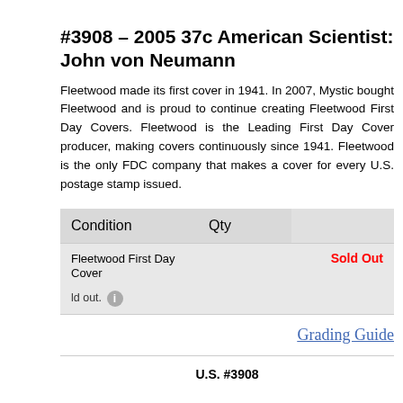#3908 – 2005 37c American Scientist: John von Neumann
Fleetwood made its first cover in 1941. In 2007, Mystic bought Fleetwood and is proud to continue creating Fleetwood First Day Covers. Fleetwood is the Leading First Day Cover producer, making covers continuously since 1941. Fleetwood is the only FDC company that makes a cover for every U.S. postage stamp issued.
| Condition | Qty |  |
| --- | --- | --- |
| Fleetwood First Day Cover |  | Sold Out |
| Sold out. |  |  |
|  |  | Grading Guide |
| U.S. #3908 |  |  |